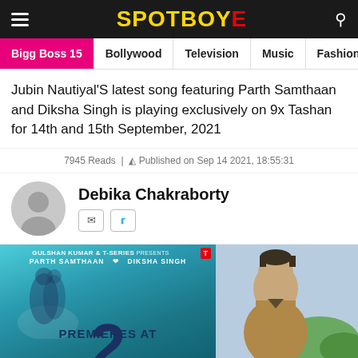SPOTBOYE
Bigg Boss 15 | Bollywood | Television | Music | Fashion
Jubin Nautiyal'S latest song featuring Parth Samthaan and Diksha Singh is playing exclusively on 9x Tashan for 14th and 15th September, 2021
7945 Reads | Published on Sep 14 2021, 18:55:31
Debika Chakraborty
[Figure (photo): Movie poster showing two people embracing under rain with text PREMIERES AT 2 PM, and headshot of a man outdoors]